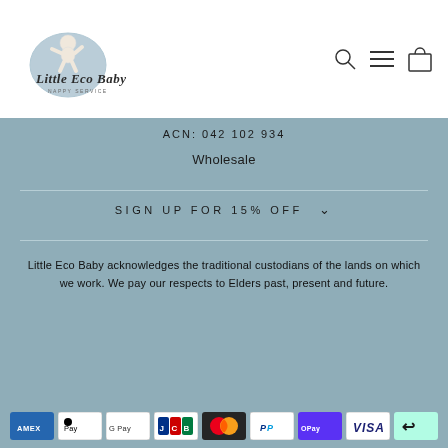[Figure (logo): Little Eco Baby Nappy Service logo with baby illustration and cursive text]
ACN: 042 102 934
Wholesale
SIGN UP FOR 15% OFF
Little Eco Baby acknowledges the traditional custodians of the lands on which we work. We pay our respects to Elders past, present and future.
[Figure (infographic): Payment method icons: American Express, Apple Pay, Google Pay, JCB, Mastercard, PayPal, Shop Pay, Visa, AfterPay]